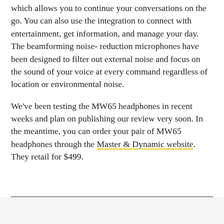The headphones also support Google Assistant, which allows you to continue your conversations on the go. You can also use the integration to connect with entertainment, get information, and manage your day. The beamforming noise- reduction microphones have been designed to filter out external noise and focus on the sound of your voice at every command regardless of location or environmental noise.
We've been testing the MW65 headphones in recent weeks and plan on publishing our review very soon. In the meantime, you can order your pair of MW65 headphones through the Master & Dynamic website. They retail for $499.